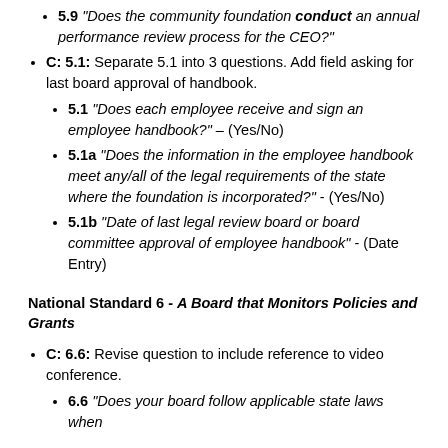5.9 "Does the community foundation conduct an annual performance review process for the CEO?"
C: 5.1: Separate 5.1 into 3 questions. Add field asking for last board approval of handbook.
5.1 "Does each employee receive and sign an employee handbook?" – (Yes/No)
5.1a "Does the information in the employee handbook meet any/all of the legal requirements of the state where the foundation is incorporated?" - (Yes/No)
5.1b "Date of last legal review board or board committee approval of employee handbook" - (Date Entry)
National Standard 6 - A Board that Monitors Policies and Grants
C: 6.6: Revise question to include reference to video conference.
6.6 "Does your board follow applicable state laws when